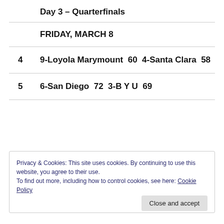Day 3 – Quarterfinals
FRIDAY, MARCH 8
4    9-Loyola Marymount  60  4-Santa Clara  58
5    6-San Diego  72  3-B Y U  69
Privacy & Cookies: This site uses cookies. By continuing to use this website, you agree to their use.
To find out more, including how to control cookies, see here: Cookie Policy